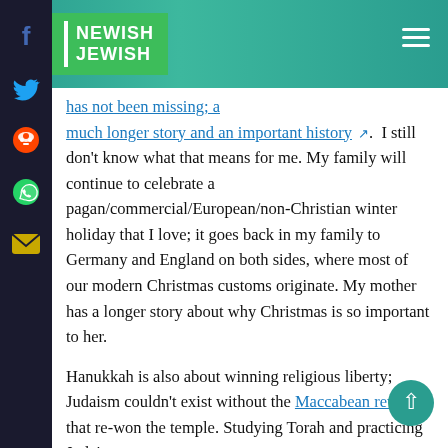Newish Jewish
...has not been missing; a much longer story and an important history. I still don't know what that means for me. My family will continue to celebrate a pagan/commercial/European/non-Christian winter holiday that I love; it goes back in my family to Germany and England on both sides, where most of our modern Christmas customs originate. My mother has a longer story about why Christmas is so important to her.
Hanukkah is also about winning religious liberty; Judaism couldn't exist without the Maccabean revolt that re-won the temple. Studying Torah and practicing Judaism as we...